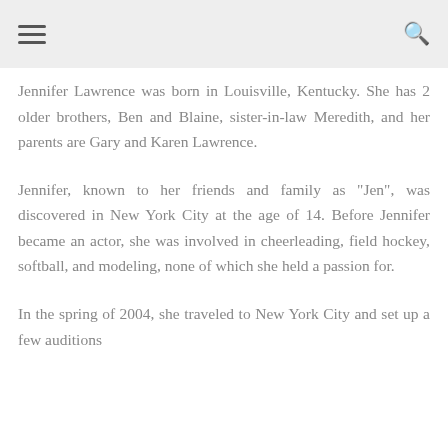[hamburger menu] [search icon]
Jennifer Lawrence was born in Louisville, Kentucky. She has 2 older brothers, Ben and Blaine, sister-in-law Meredith, and her parents are Gary and Karen Lawrence.
Jennifer, known to her friends and family as "Jen", was discovered in New York City at the age of 14. Before Jennifer became an actor, she was involved in cheerleading, field hockey, softball, and modeling, none of which she held a passion for.
In the spring of 2004, she traveled to New York City and set up a few auditions